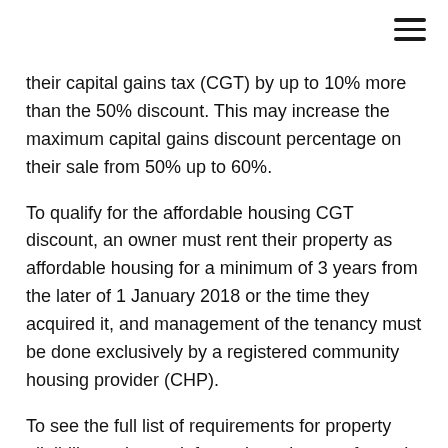their capital gains tax (CGT) by up to 10% more than the 50% discount. This may increase the maximum capital gains discount percentage on their sale from 50% up to 60%.
To qualify for the affordable housing CGT discount, an owner must rent their property as affordable housing for a minimum of 3 years from the later of 1 January 2018 or the time they acquired it, and management of the tenancy must be done exclusively by a registered community housing provider (CHP).
To see the full list of requirements for property eligibility and more information, please refer to the ATO CGT discount for affordable housing page .
A property is not eligible for the affordable housing CGT discount whilst it is part of the NRAS. Owners may however wish to consider continuing the rental of their property at